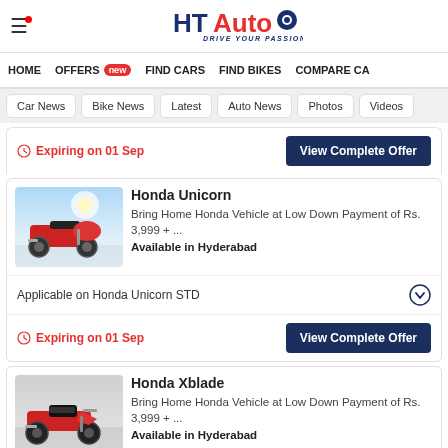HT Auto - Drive Your Passion
HOME   OFFERS new   FIND CARS   FIND BIKES   COMPARE CA
Car News   Bike News   Latest   Auto News   Photos   Videos
Expiring on 01 Sep   View Complete Offer
[Figure (photo): Honda Unicorn motorcycle image]
Honda Unicorn
Bring Home Honda Vehicle at Low Down Payment of Rs. 3,999 + ...
Available in Hyderabad
Applicable on Honda Unicorn STD
Expiring on 01 Sep   View Complete Offer
[Figure (photo): Honda Xblade motorcycle image]
Honda Xblade
Bring Home Honda Vehicle at Low Down Payment of Rs. 3,999 + ...
Available in Hyderabad